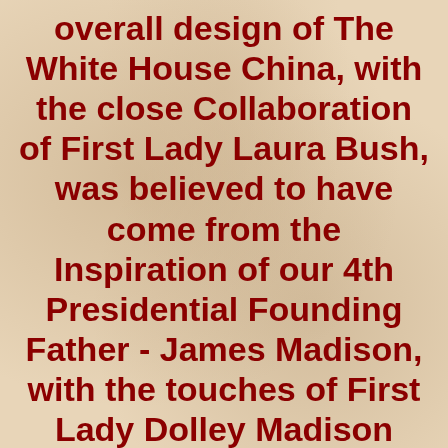overall design of The White House China, with the close Collaboration of First Lady Laura Bush, was believed to have come from the Inspiration of our 4th Presidential Founding Father - James Madison, with the touches of First Lady Dolley Madison